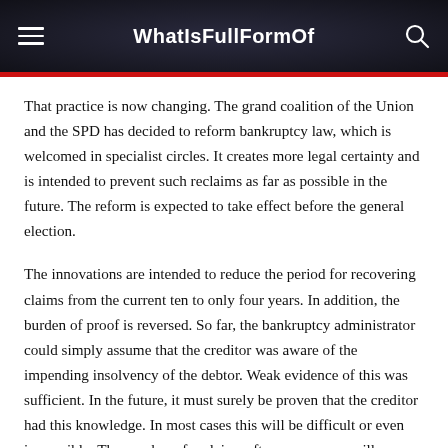WhatIsFullFormOf
That practice is now changing. The grand coalition of the Union and the SPD has decided to reform bankruptcy law, which is welcomed in specialist circles. It creates more legal certainty and is intended to prevent such reclaims as far as possible in the future. The reform is expected to take effect before the general election.
The innovations are intended to reduce the period for recovering claims from the current ten to only four years. In addition, the burden of proof is reversed. So far, the bankruptcy administrator could simply assume that the creditor was aware of the impending insolvency of the debtor. Weak evidence of this was sufficient. In the future, it must surely be proven that the creditor had this knowledge. In most cases this will be difficult or even impossible. The number of reclaims after many years will, therefore, be expected to decrease massively.